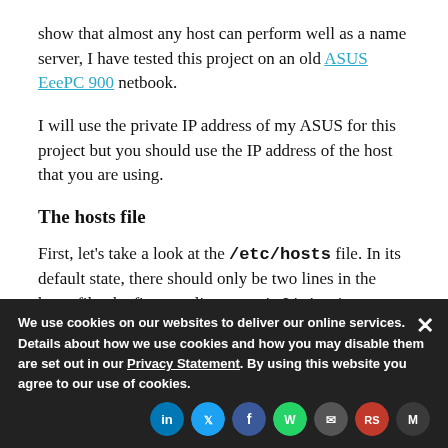show that almost any host can perform well as a name server, I have tested this project on an old ASUS EeePC 900 netbook.
I will use the private IP address of my ASUS for this project but you should use the IP address of the host that you are using.
The hosts file
First, let's take a look at the /etc/hosts file. In its default state, there should only be two lines in the hosts file, the first two lines seen in Listing 1, below.
localhost.
We use cookies on our websites to deliver our online services. Details about how we use cookies and how you may disable them are set out in our Privacy Statement. By using this website you agree to our use of cookies.